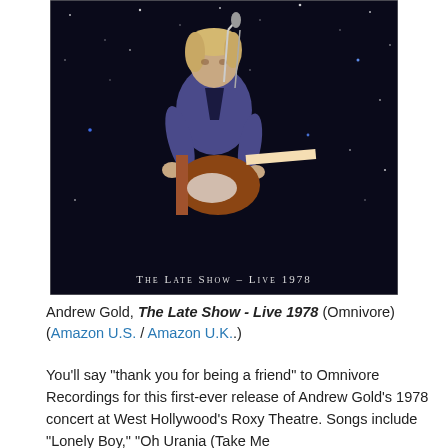[Figure (photo): Album cover photo of Andrew Gold performing on stage with a guitar and microphone against a starry black background. Text at bottom reads 'THE LATE SHOW – LIVE 1978']
Andrew Gold, The Late Show - Live 1978 (Omnivore) (Amazon U.S. / Amazon U.K.)
You'll say "thank you for being a friend" to Omnivore Recordings for this first-ever release of Andrew Gold's 1978 concert at West Hollywood's Roxy Theatre. Songs include "Lonely Boy," "Oh Urania (Take Me